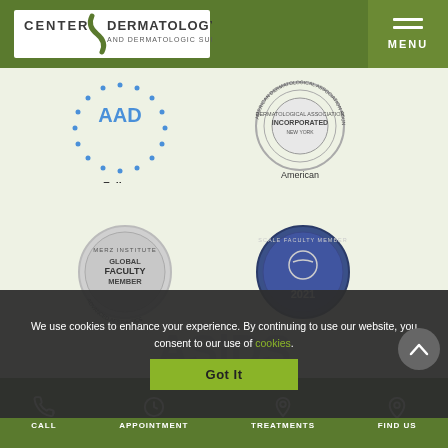[Figure (logo): Center for Dermatology and Dermatologic Surgery logo with MENU button in header]
[Figure (logo): AAD Fellow - American Academy of Dermatology badge (blue dotted circle)]
[Figure (logo): American Dermatological Association seal (circular embossed stamp)]
[Figure (logo): Merz Institute Global Faculty Member Advanced Aesthetics badge (silver circular badge)]
[Figure (logo): Scale Faculty Member 2021 badge (dark blue circular badge)]
[Figure (logo): ASDS - American Society for Dermatologic Surgery logo (partially visible)]
We use cookies to enhance your experience. By continuing to use our website, you consent to our use of cookies.
Got It
CALL
APPOINTMENT
TREATMENTS
FIND US